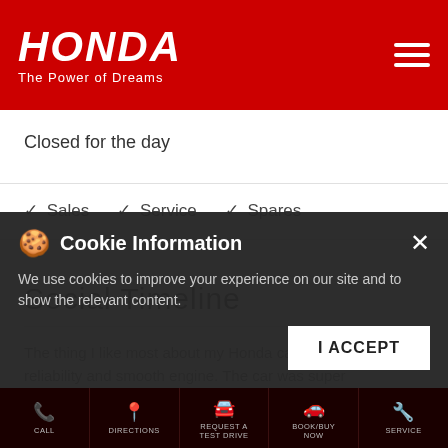HONDA The Power of Dreams
Closed for the day
✓ Sales  ✓ Service  ✓ Spares
Social Timeline
The thing I like most about my Honda car is its reliability and smooth engine. The car was super comfortable and s…
Cookie Information
We use cookies to improve your experience on our site and to show the relevant content.
CALL  DIRECTIONS  REQUEST A TEST DRIVE  BOOK/BUY NOW  SERVICE